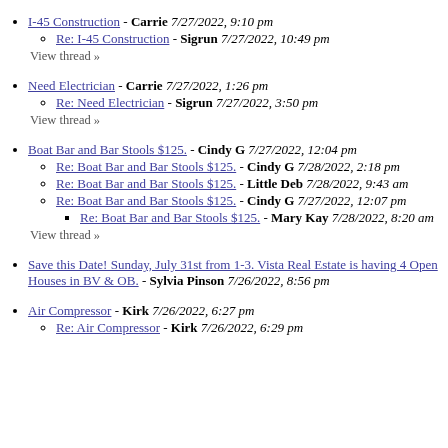I-45 Construction - Carrie 7/27/2022, 9:10 pm
Re: I-45 Construction - Sigrun 7/27/2022, 10:49 pm
View thread »
Need Electrician - Carrie 7/27/2022, 1:26 pm
Re: Need Electrician - Sigrun 7/27/2022, 3:50 pm
View thread »
Boat Bar and Bar Stools $125. - Cindy G 7/27/2022, 12:04 pm
Re: Boat Bar and Bar Stools $125. - Cindy G 7/28/2022, 2:18 pm
Re: Boat Bar and Bar Stools $125. - Little Deb 7/28/2022, 9:43 am
Re: Boat Bar and Bar Stools $125. - Cindy G 7/27/2022, 12:07 pm
Re: Boat Bar and Bar Stools $125. - Mary Kay 7/28/2022, 8:20 am
View thread »
Save this Date! Sunday, July 31st from 1-3. Vista Real Estate is having 4 Open Houses in BV & OB. - Sylvia Pinson 7/26/2022, 8:56 pm
Air Compressor - Kirk 7/26/2022, 6:27 pm
Re: Air Compressor - Kirk 7/26/2022, 6:29 pm